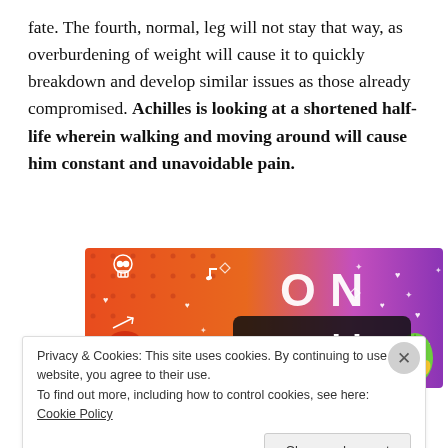fate. The fourth, normal, leg will not stay that way, as overburdening of weight will cause it to quickly breakdown and develop similar issues as those already compromised. Achilles is looking at a shortened half-life wherein walking and moving around will cause him constant and unavoidable pain.
[Figure (illustration): Tumblr promotional banner with colorful orange-to-purple gradient background, white illustrated doodles (skull, musical notes, hearts, arrows, leaves), large bold text 'ON tumblr' in white and black, and a cartoon green character on the right side.]
Privacy & Cookies: This site uses cookies. By continuing to use this website, you agree to their use.
To find out more, including how to control cookies, see here: Cookie Policy